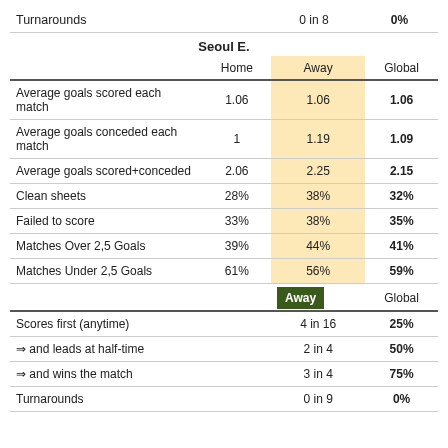|  |  | 0 in 8 | 0% |
| --- | --- | --- | --- |
| Turnarounds |  | 0 in 8 | 0% |
Seoul E.
|  | Home | Away | Global |
| --- | --- | --- | --- |
| Average goals scored each match | 1.06 | 1.06 | 1.06 |
| Average goals conceded each match | 1 | 1.19 | 1.09 |
| Average goals scored+conceded | 2.06 | 2.25 | 2.15 |
| Clean sheets | 28% | 38% | 32% |
| Failed to score | 33% | 38% | 35% |
| Matches Over 2,5 Goals | 39% | 44% | 41% |
| Matches Under 2,5 Goals | 61% | 56% | 59% |
|  |  | Away | Global |
| --- | --- | --- | --- |
| Scores first (anytime) |  | 4 in 16 | 25% |
| ⇒ and leads at half-time |  | 2 in 4 | 50% |
| ⇒ and wins the match |  | 3 in 4 | 75% |
| Turnarounds |  | 0 in 9 | 0% |